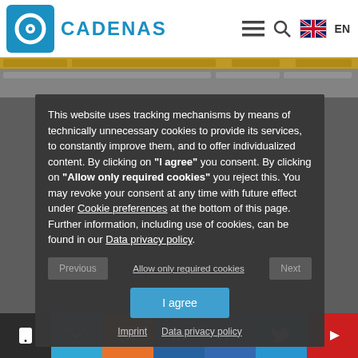CADENAS
This website uses tracking mechanisms by means of technically unnecessary cookies to provide its services, to constantly improve them, and to offer individualized content. By clicking on "I agree" you consent. By clicking on "Allow only required cookies" you reject this. You may revoke your consent at any time with future effect under Cookie preferences at the bottom of this page. Further information, including use of cookies, can be found in our Data privacy policy.
Allow only required cookies
I agree
Imprint   Data privacy policy